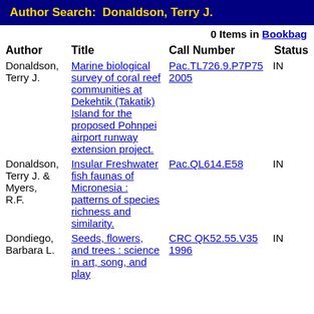Author Search: Donaldson, Terry J.
0 Items in Bookbag
| Author | Title | Call Number | Status |
| --- | --- | --- | --- |
| Donaldson, Terry J. | Marine biological survey of coral reef communities at Dekehtik (Takatik) Island for the proposed Pohnpei airport runway extension project. | Pac.TL726.9.P7P75 2005 | IN |
| Donaldson, Terry J. & Myers, R.F. | Insular Freshwater fish faunas of Micronesia : patterns of species richness and similarity. | Pac.QL614.E58 | IN |
| Dondiego, Barbara L. | Seeds, flowers, and trees : science in art, song, and play | CRC QK52.55.V35 1996 | IN |